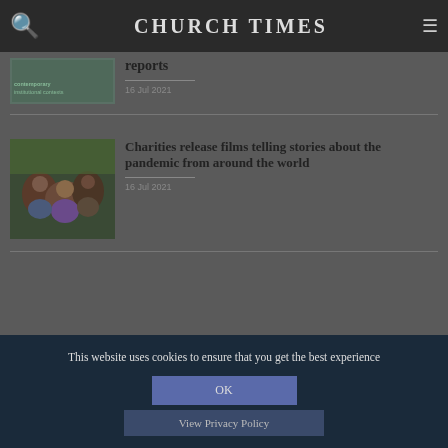CHURCH TIMES
[Figure (photo): Book cover or article thumbnail with text overlay: contemporary institutional contexts]
reports
16 Jul 2021
[Figure (photo): Group of people outdoors, pandemic story from around the world]
Charities release films telling stories about the pandemic from around the world
16 Jul 2021
This website uses cookies to ensure that you get the best experience
OK
View Privacy Policy